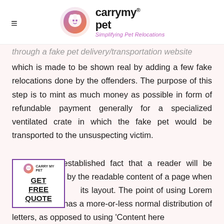carry my pet® — Simplifying Pet Relocations
through a fake pet delivery/transportation website which is made to be shown real by adding a few fake relocations done by the offenders. The purpose of this step is to mint as much money as possible in form of refundable payment generally for a specialized ventilated crate in which the fake pet would be transported to the unsuspecting victim.
It is a long established fact that a reader will be distracted by the readable content of a page when looking at its layout. The point of using Lorem Ipsum is that it has a more-or-less normal distribution of letters, as opposed to using 'Content here
[Figure (other): GET FREE QUOTE call-to-action widget with CarryMyPet logo and purple border]